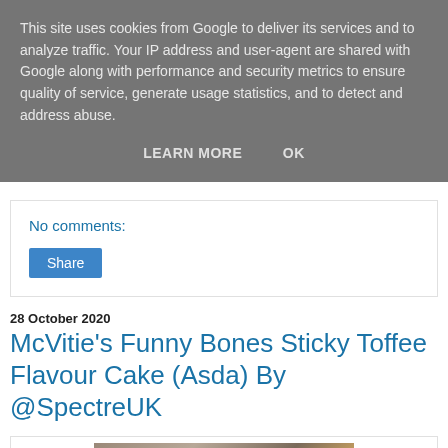This site uses cookies from Google to deliver its services and to analyze traffic. Your IP address and user-agent are shared with Google along with performance and security metrics to ensure quality of service, generate usage statistics, and to detect and address abuse.
LEARN MORE   OK
No comments:
Share
28 October 2020
McVitie's Funny Bones Sticky Toffee Flavour Cake (Asda) By @SpectreUK
[Figure (photo): Partial view of McVitie's Funny Bones Sticky Toffee Flavour Cake packaging on a surface]